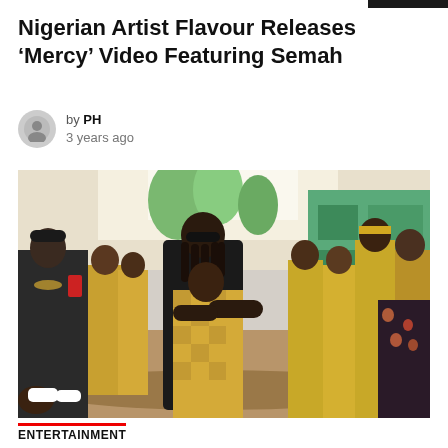Nigerian Artist Flavour Releases ‘Mercy’ Video Featuring Semah
by PH
3 years ago
[Figure (photo): Crowd scene outdoors with people wearing yellow and gold traditional attire. A man in sunglasses with dreadlocks bends down to embrace a child in the center. Another man in black with a gold chain stands to the left. Green building visible in background.]
ENTERTAINMENT